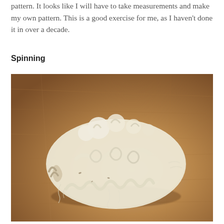pattern. It looks like I will have to take measurements and make my own pattern. This is a good exercise for me, as I haven't done it in over a decade.
Spinning
[Figure (photo): A pile of raw, curly cream-colored wool fleece photographed on a wooden surface. The fleece shows natural crimp and curl, with some darker fibers visible at the base.]